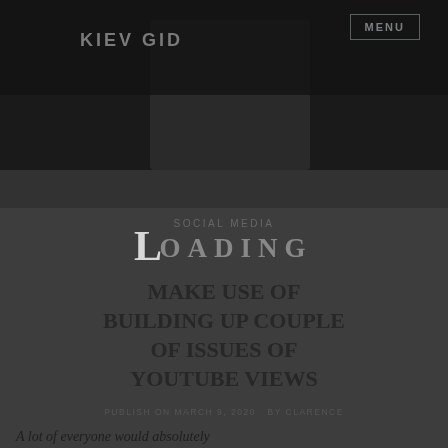KIEV GID
[Figure (photo): Dark hero image background with a person or scene, very dark toned]
SOCIAL MEDIA
LOADING
MAKE USE OF BUILDING UP COUPLE OF ISSUES OF YOUTUBE VIEWS
PUBLISH ON MARCH 9, 2020  BY CLARENCE
A lot of everyone would absolutely